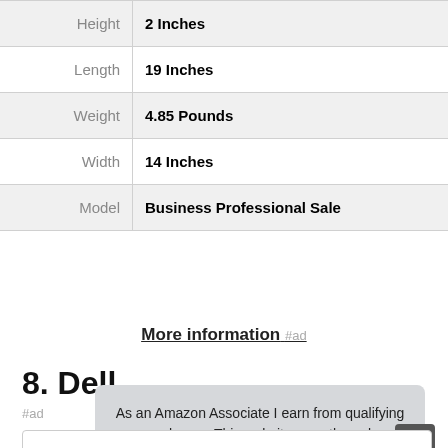| Attribute | Value |
| --- | --- |
| Height | 2 Inches |
| Length | 19 Inches |
| Weight | 4.85 Pounds |
| Width | 14 Inches |
| Model | Business Professional Sale |
More information #ad
8. Dell
#ad
As an Amazon Associate I earn from qualifying purchases. This website uses the only necessary cookies to ensure you get the best experience on our website. More information